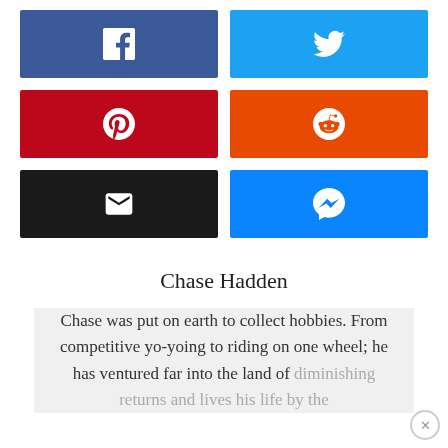[Figure (infographic): Six social media share buttons arranged in a 2x3 grid: Facebook (dark blue), Twitter (light blue), Pinterest (red), Reddit (orange-red), Email (black), Messenger (blue)]
Chase Hadden
Chase was put on earth to collect hobbies. From competitive yo-yoing to riding on one wheel; he has ventured far into the land of diminishing returns and lives his life by the